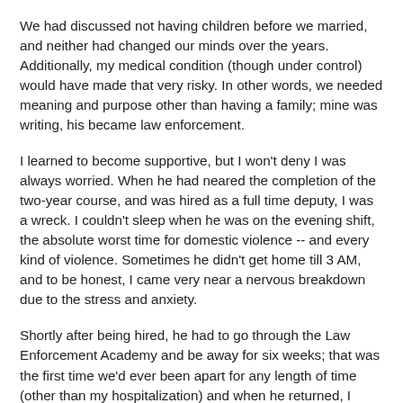We had discussed not having children before we married, and neither had changed our minds over the years. Additionally, my medical condition (though under control) would have made that very risky. In other words, we needed meaning and purpose other than having a family; mine was writing, his became law enforcement.
I learned to become supportive, but I won't deny I was always worried. When he had neared the completion of the two-year course, and was hired as a full time deputy, I was a wreck. I couldn't sleep when he was on the evening shift, the absolute worst time for domestic violence -- and every kind of violence. Sometimes he didn't get home till 3 AM, and to be honest, I came very near a nervous breakdown due to the stress and anxiety.
Shortly after being hired, he had to go through the Law Enforcement Academy and be away for six weeks; that was the first time we'd ever been apart for any length of time (other than my hospitalization) and when he returned, I believe we both realized that even though it would be a